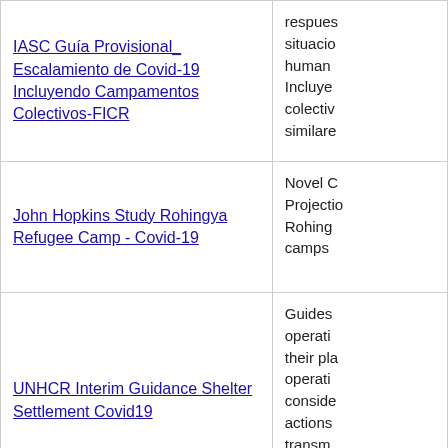| Document | Description |
| --- | --- |
| IASC Guía Provisional_ Escalamiento de Covid-19 Incluyendo Campamentos Colectivos-FICR | respues situacio human Incluye colectiv similare |
| John Hopkins Study Rohingya Refugee Camp - Covid-19 | Novel C Projectio Rohing camps |
| UNHCR Interim Guidance Shelter Settlement Covid19 | Guides operati their pla operati conside actions transm COVID of conc |
|  | Este do las nec |